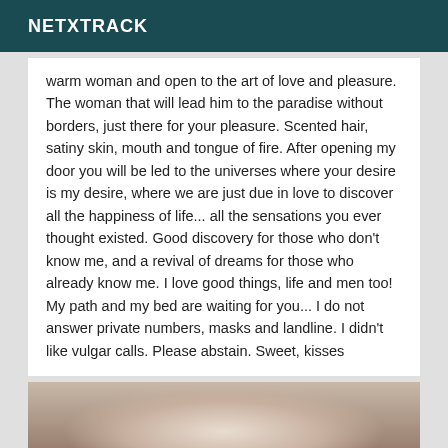NETXTRACK
warm woman and open to the art of love and pleasure. The woman that will lead him to the paradise without borders, just there for your pleasure. Scented hair, satiny skin, mouth and tongue of fire. After opening my door you will be led to the universes where your desire is my desire, where we are just due in love to discover all the happiness of life... all the sensations you ever thought existed. Good discovery for those who don't know me, and a revival of dreams for those who already know me. I love good things, life and men too! My path and my bed are waiting for you... I do not answer private numbers, masks and landline. I didn't like vulgar calls. Please abstain. Sweet, kisses
[Figure (photo): A person with dark hair photographed from behind in what appears to be an indoor setting with light-colored walls.]